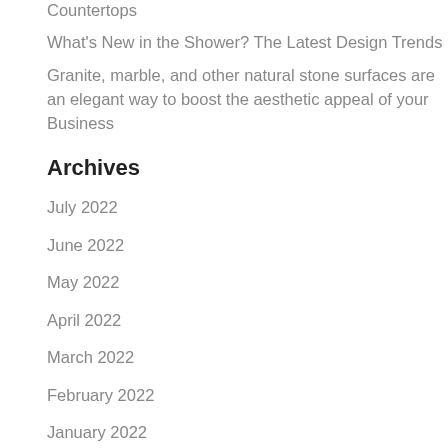Countertops
What's New in the Shower? The Latest Design Trends
Granite, marble, and other natural stone surfaces are an elegant way to boost the aesthetic appeal of your Business
Archives
July 2022
June 2022
May 2022
April 2022
March 2022
February 2022
January 2022
December 2021
November 2021